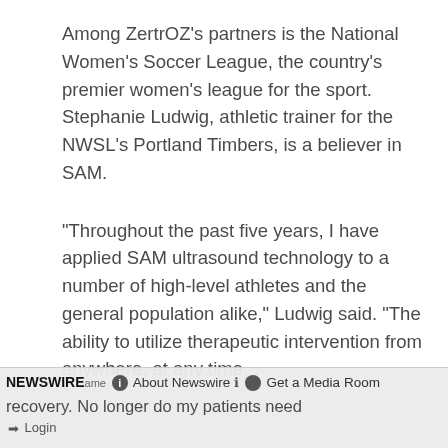Among ZertrOZ's partners is the National Women's Soccer League, the country's premier women's league for the sport. Stephanie Ludwig, athletic trainer for the NWSL's Portland Timbers, is a believer in SAM.
"Throughout the past five years, I have applied SAM ultrasound technology to a number of high-level athletes and the general population alike," Ludwig said. "The ability to utilize therapeutic intervention from anywhere, at any time,
NEWSWIRE  About Newswire  Get a Media Room  Login  recovery. No longer do my patients need